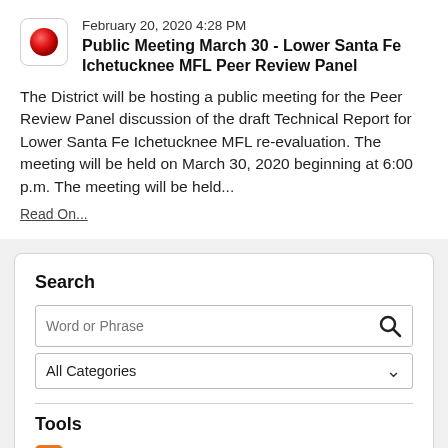February 20, 2020 4:28 PM
Public Meeting March 30 - Lower Santa Fe Ichetucknee MFL Peer Review Panel
The District will be hosting a public meeting for the Peer Review Panel discussion of the draft Technical Report for Lower Santa Fe Ichetucknee MFL re-evaluation. The meeting will be held on March 30, 2020 beginning at 6:00 p.m. The meeting will be held...
Read On...
Search
Word or Phrase
All Categories
Tools
RSS
Notify Me
Show Archived